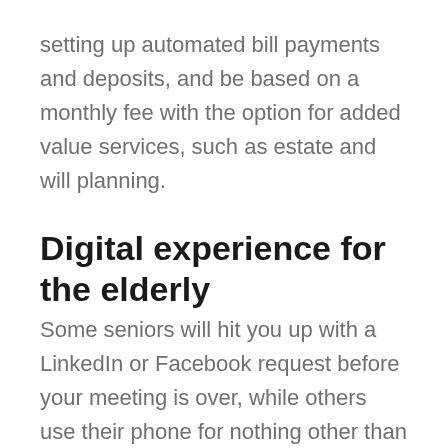setting up automated bill payments and deposits, and be based on a monthly fee with the option for added value services, such as estate and will planning.
Digital experience for the elderly
Some seniors will hit you up with a LinkedIn or Facebook request before your meeting is over, while others use their phone for nothing other than (gasp) making phone calls. Across the aging